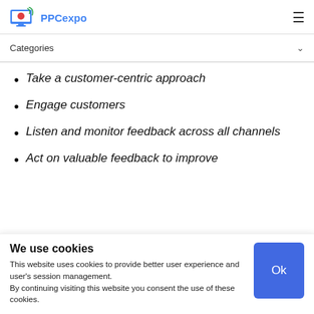PPCexpo
Categories
Take a customer-centric approach
Engage customers
Listen and monitor feedback across all channels
Act on valuable feedback to improve
We use cookies
This website uses cookies to provide better user experience and user's session management.
By continuing visiting this website you consent the use of these cookies.